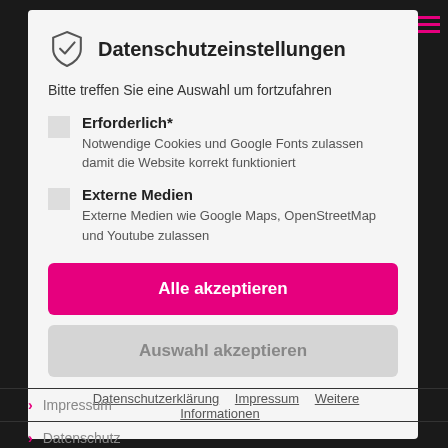Datenschutzeinstellungen
Bitte treffen Sie eine Auswahl um fortzufahren
Erforderlich* — Notwendige Cookies und Google Fonts zulassen damit die Website korrekt funktioniert
Externe Medien — Externe Medien wie Google Maps, OpenStreetMap und Youtube zulassen
Alle akzeptieren
Auswahl akzeptieren
Datenschutzerklärung  Impressum  Weitere Informationen
Impressum
Datenschutz